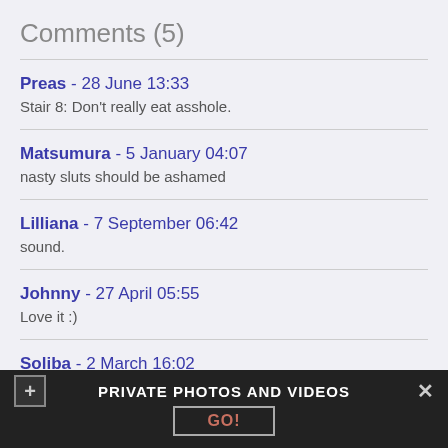Comments (5)
Preas - 28 June 13:33
Stair 8: Don't really eat asshole.
Matsumura - 5 January 04:07
nasty sluts should be ashamed
Lilliana - 7 September 06:42
sound.
Johnny - 27 April 05:55
Love it :)
Soliba - 2 March 16:02
PRIVATE PHOTOS AND VIDEOS
GO!